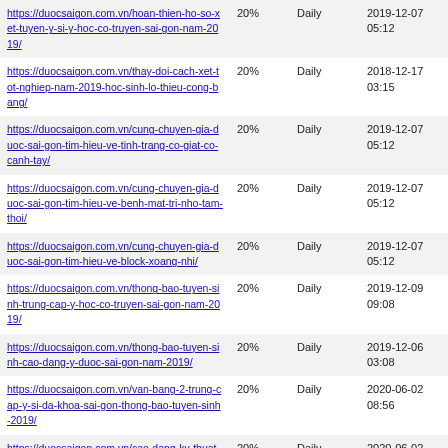| URL | Priority | Change Freq | Last Modified |
| --- | --- | --- | --- |
| https://duocsaigon.com.vn/hoan-thien-ho-so-xet-tuyen-y-si-y-hoc-co-truyen-sai-gon-nam-2019/ | 20% | Daily | 2019-12-07 05:12 |
| https://duocsaigon.com.vn/thay-doi-cach-xet-tot-nghiep-nam-2019-hoc-sinh-lo-thieu-cong-bang/ | 20% | Daily | 2018-12-17 03:15 |
| https://duocsaigon.com.vn/cung-chuyen-gia-duoc-sai-gon-tim-hieu-ve-tinh-trang-co-giat-co-canh-tay/ | 20% | Daily | 2019-12-07 05:12 |
| https://duocsaigon.com.vn/cung-chuyen-gia-duoc-sai-gon-tim-hieu-ve-benh-mat-tri-nho-tam-thoi/ | 20% | Daily | 2019-12-07 05:12 |
| https://duocsaigon.com.vn/cung-chuyen-gia-duoc-sai-gon-tim-hieu-ve-block-xoang-nhi/ | 20% | Daily | 2019-12-07 05:12 |
| https://duocsaigon.com.vn/thong-bao-tuyen-sinh-trung-cap-y-hoc-co-truyen-sai-gon-nam-2019/ | 20% | Daily | 2019-12-09 09:08 |
| https://duocsaigon.com.vn/thong-bao-tuyen-sinh-cao-dang-y-duoc-sai-gon-nam-2019/ | 20% | Daily | 2019-12-06 03:08 |
| https://duocsaigon.com.vn/van-bang-2-trung-cap-y-si-da-khoa-sai-gon-thong-bao-tuyen-sinh-2019/ | 20% | Daily | 2020-06-02 08:56 |
| https://duocsaigon.com.vn/cao-dang-ky-thuat-xet-nghiem-y-hoc-tot-nghiep-ra-truong-se-lam-gi/ | 20% | Daily | 2020-06-02 03:46 |
| https://duocsaigon.com.vn/co-hoi-mien-100-hoc-phi-khi-hoc-tai-truong-… | 20% | Daily | 2019-12-06 |